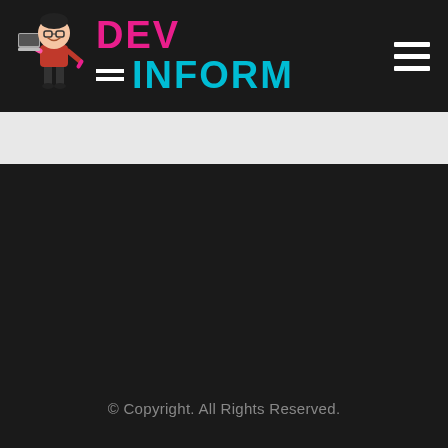[Figure (logo): DevInform website logo with cartoon mascot holding a laptop, text DEV in pink and INFORM in cyan with hamburger menu icon]
© Copyright. All Rights Reserved.